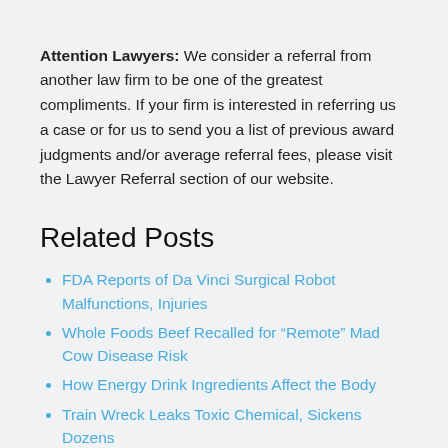Attention Lawyers: We consider a referral from another law firm to be one of the greatest compliments. If your firm is interested in referring us a case or for us to send you a list of previous award judgments and/or average referral fees, please visit the Lawyer Referral section of our website.
Related Posts
FDA Reports of Da Vinci Surgical Robot Malfunctions, Injuries
Whole Foods Beef Recalled for "Remote" Mad Cow Disease Risk
How Energy Drink Ingredients Affect the Body
Train Wreck Leaks Toxic Chemical, Sickens Dozens